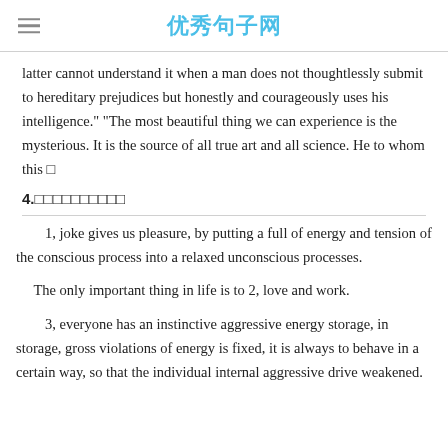优秀句子网
latter cannot understand it when a man does not thoughtlessly submit to hereditary prejudices but honestly and courageously uses his intelligence." "The most beautiful thing we can experience is the mysterious. It is the source of all true art and all science. He to whom this □
4.□□□□□□□□□□
1, joke gives us pleasure, by putting a full of energy and tension of the conscious process into a relaxed unconscious processes.
The only important thing in life is to 2, love and work.
3, everyone has an instinctive aggressive energy storage, in storage, gross violations of energy is fixed, it is always to behave in a certain way, so that the individual internal aggressive drive weakened.